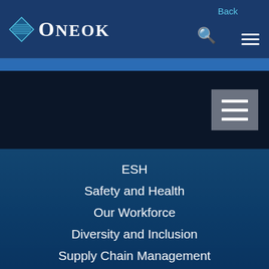ONEOK navigation header with logo, search icon, menu icon, and Back link
[Figure (screenshot): Dark navy section with a gray hamburger/menu button on the right side]
ESH
Safety and Health
Our Workforce
Diversity and Inclusion
Supply Chain Management
Corporate Citizenship
Government Relations